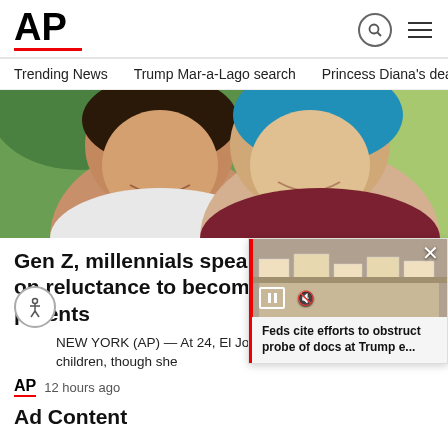AP
Trending News   Trump Mar-a-Lago search   Princess Diana's dea
[Figure (photo): Two young women smiling together outdoors, one with dark hair in a white shirt, one with blue hair in a maroon shirt, with green trees in the background]
Gen Z, millennials speak out on reluctance to become parents
NEW YORK (AP) — At 24, El Johnson won't bear children, though she
AP  12 hours ago
[Figure (screenshot): Video overlay showing Feds cite efforts to obstruct probe of docs at Trump e... with video thumbnail of boxes/documents]
Ad Content